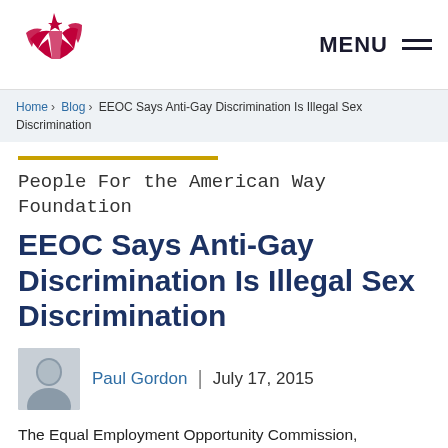[Figure (logo): People For the American Way Foundation star logo in red/crimson]
MENU
Home > Blog > EEOC Says Anti-Gay Discrimination Is Illegal Sex Discrimination
People For the American Way Foundation
EEOC Says Anti-Gay Discrimination Is Illegal Sex Discrimination
Paul Gordon  |  July 17, 2015
The Equal Employment Opportunity Commission, the federal agency tasked with enforcing federal